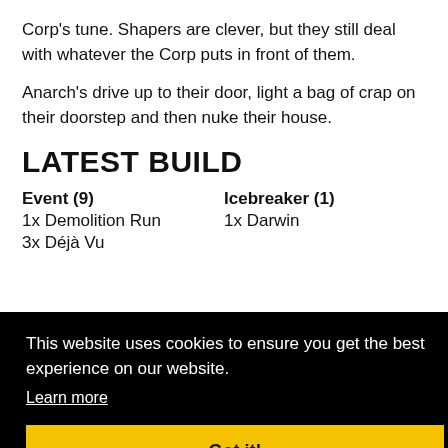Corp's tune. Shapers are clever, but they still deal with whatever the Corp puts in front of them.
Anarch's drive up to their door, light a bag of crap on their doorstep and then nuke their house.
LATEST BUILD
Event (9)
1x Demolition Run
3x Déjà Vu
Icebreaker (1)
1x Darwin
This website uses cookies to ensure you get the best experience on our website.
Learn more
Got it!
1x Liberated Account
2x Medium